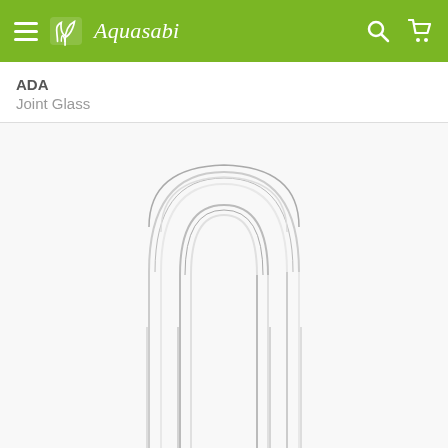Aquasabi
ADA
Joint Glass
[Figure (photo): ADA Joint Glass product photo showing a U-shaped glass tube connector with two parallel vertical tubes joined by a rounded arch at the top, made of clear glass with silver/chrome appearance]